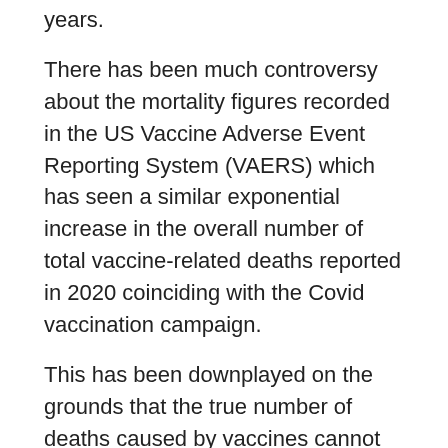years.
There has been much controversy about the mortality figures recorded in the US Vaccine Adverse Event Reporting System (VAERS) which has seen a similar exponential increase in the overall number of total vaccine-related deaths reported in 2020 coinciding with the Covid vaccination campaign.
This has been downplayed on the grounds that the true number of deaths caused by vaccines cannot be determined from this database, which can only be used to find signals. But the increase from the background rates is precisely a signal.
Searching through the data for the twenty years leading up to 2013, Moro et al found a total of 2,149 reports, roughly 100 deaths per year. They